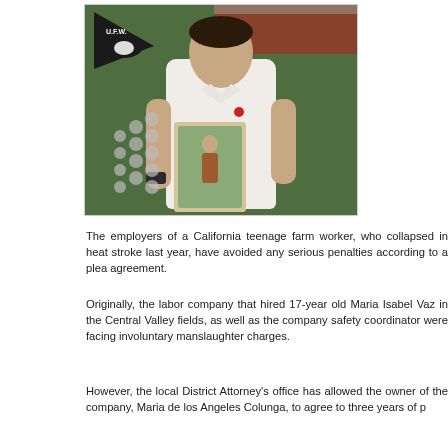[Figure (photo): A man in a white polo shirt standing in front of a chain-link fence with greenery, holding a framed photograph of a young woman. A UFW (United Farm Workers) flag is visible in the upper left corner. Red and white banners are in the background.]
The employers of a California teenage farm worker, who collapsed in heat stroke last year, have avoided any serious penalties according to a plea agreement.
Originally, the labor company that hired 17-year old Maria Isabel Vaz in the Central Valley fields, as well as the company safety coordinator were facing involuntary manslaughter charges.
However, the local District Attorney's office has allowed the owner of the company, Maria de los Angeles Colunga, to agree to three years of p...